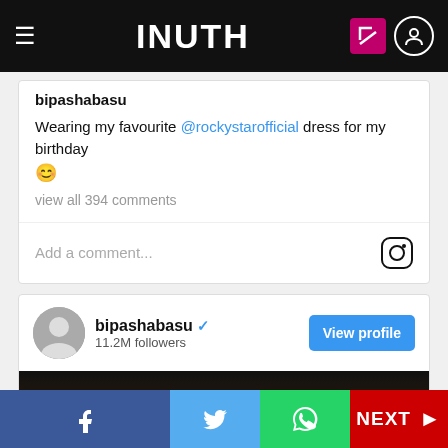INUTH
bipashabasu
Wearing my favourite @rockystarofficial dress for my birthday 😊
view all 394 comments
Add a comment...
bipashabasu ✔ 11.2M followers
[Figure (photo): Dark blurred photo in a social media post by bipashabasu]
Facebook share | Twitter share | WhatsApp share | NEXT >